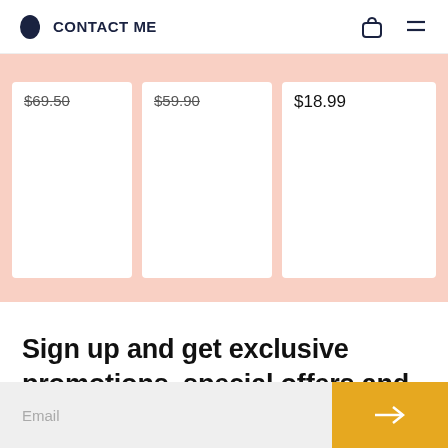CONTACT ME
$69.50   $59.90   $18.99
Sign up and get exclusive promotions, special offers and more!
Email